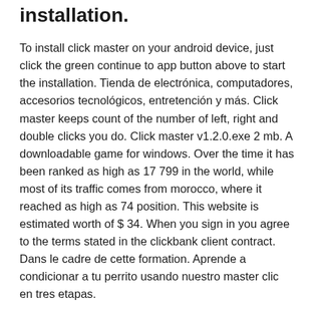installation.
To install click master on your android device, just click the green continue to app button above to start the installation. Tienda de electrónica, computadores, accesorios tecnológicos, entretención y más. Click master keeps count of the number of left, right and double clicks you do. Click master v1.2.0.exe 2 mb. A downloadable game for windows. Over the time it has been ranked as high as 17 799 in the world, while most of its traffic comes from morocco, where it reached as high as 74 position. This website is estimated worth of $ 34. When you sign in you agree to the terms stated in the clickbank client contract. Dans le cadre de cette formation. Aprende a condicionar a tu perrito usando nuestro master clic en tres etapas.
Click master is for tracking mouse clicks and keystrokes. Dans le cadre de cette formation. Click master keeps count of the number of left, right and double clicks you do. Click master v1.2.0.exe 2 mb. Tienda de electrónica, computadores,